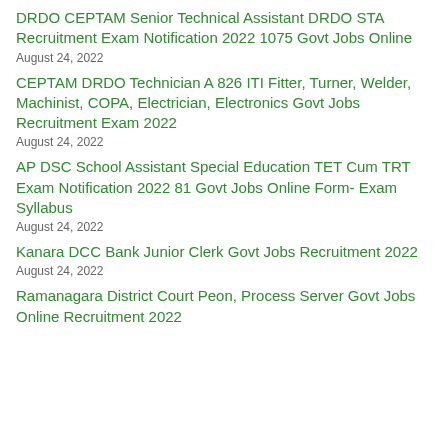DRDO CEPTAM Senior Technical Assistant DRDO STA Recruitment Exam Notification 2022 1075 Govt Jobs Online
August 24, 2022
CEPTAM DRDO Technician A 826 ITI Fitter, Turner, Welder, Machinist, COPA, Electrician, Electronics Govt Jobs Recruitment Exam 2022
August 24, 2022
AP DSC School Assistant Special Education TET Cum TRT Exam Notification 2022 81 Govt Jobs Online Form- Exam Syllabus
August 24, 2022
Kanara DCC Bank Junior Clerk Govt Jobs Recruitment 2022
August 24, 2022
Ramanagara District Court Peon, Process Server Govt Jobs Online Recruitment 2022